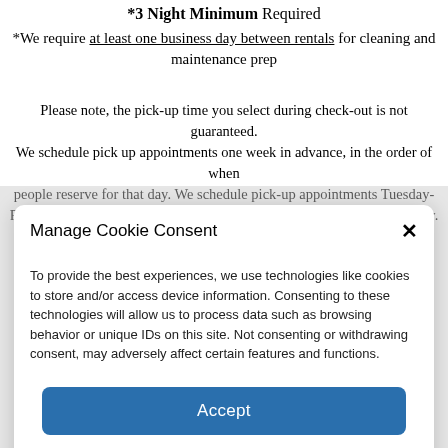*3 Night Minimum Required
*We require at least one business day between rentals for cleaning and maintenance prep
Please note, the pick-up time you select during check-out is not guaranteed. We schedule pick up appointments one week in advance, in the order of when people reserve for that day. We schedule pick-up appointments Tuesday-Friday from 10am-3pm. We do not allow pick-ups Saturday thru Monday.
Manage Cookie Consent
To provide the best experiences, we use technologies like cookies to store and/or access device information. Consenting to these technologies will allow us to process data such as browsing behavior or unique IDs on this site. Not consenting or withdrawing consent, may adversely affect certain features and functions.
Accept
Cookie Policy  Privacy Statement  Imprint